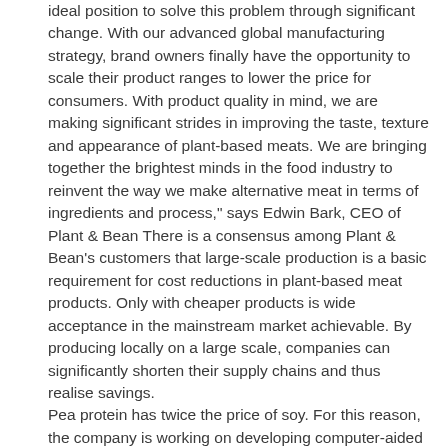ideal position to solve this problem through significant change. With our advanced global manufacturing strategy, brand owners finally have the opportunity to scale their product ranges to lower the price for consumers. With product quality in mind, we are making significant strides in improving the taste, texture and appearance of plant-based meats. We are bringing together the brightest minds in the food industry to reinvent the way we make alternative meat in terms of ingredients and process," says Edwin Bark, CEO of Plant & Bean There is a consensus among Plant & Bean's customers that large-scale production is a basic requirement for cost reductions in plant-based meat products. Only with cheaper products is wide acceptance in the mainstream market achievable. By producing locally on a large scale, companies can significantly shorten their supply chains and thus realise savings.
Pea protein has twice the price of soy. For this reason, the company is working on developing computer-aided breeding technology to reduce the cost of peas and beans by 50 per cent. Plant & Bean is also working on optimising protein extraction so that multiple protein sources can be used at significantly lower cost. In addition, Plant & Bean wants to improve texture production together with its partners. The focus is on optimised extrusion technology to increase machine efficiency, reduce energy consumption and improve the consistency of plant-based meat.